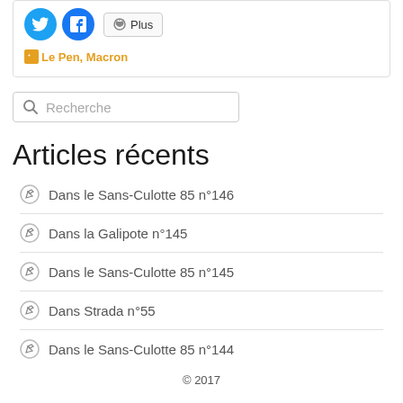[Figure (screenshot): Social share buttons: Twitter (blue circle), Facebook (blue circle), and a Plus button with share icon]
Le Pen, Macron
[Figure (screenshot): Search input box with magnifying glass icon and placeholder text 'Recherche']
Articles récents
Dans le Sans-Culotte 85 n°146
Dans la Galipote n°145
Dans le Sans-Culotte 85 n°145
Dans Strada n°55
Dans le Sans-Culotte 85 n°144
© 2017